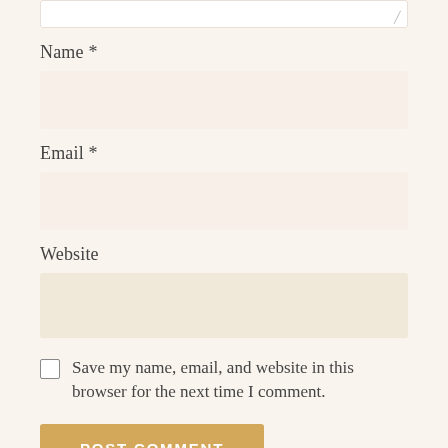[textarea top stub]
Name *
[Figure (other): Name input field, beige/light background]
Email *
[Figure (other): Email input field, beige/light background]
Website
[Figure (other): Website input field, slightly darker beige background]
Save my name, email, and website in this browser for the next time I comment.
POST COMMENT
This site uses Akismet to reduce spam. Learn